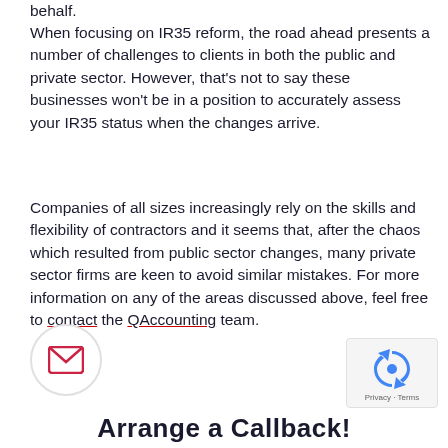behalf.
When focusing on IR35 reform, the road ahead presents a number of challenges to clients in both the public and private sector. However, that's not to say these businesses won't be in a position to accurately assess your IR35 status when the changes arrive.
Companies of all sizes increasingly rely on the skills and flexibility of contractors and it seems that, after the chaos which resulted from public sector changes, many private sector firms are keen to avoid similar mistakes. For more information on any of the areas discussed above, feel free to contact the QAccounting team.
[Figure (illustration): Email envelope icon inside a circle]
[Figure (illustration): reCAPTCHA widget with Privacy and Terms text]
Arrange a Callback!